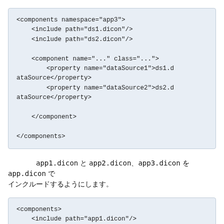[Figure (screenshot): Code block showing XML configuration with components namespace app3, include paths for ds1.dicon and ds2.dicon, component name and class attributes, property elements for dataSource1 and dataSource2, ellipsis markers, closing tags]
以上のようにapp1.dicon と app2.dicon、app3.dicon を app.dicon で インクルードするようにします。
[Figure (screenshot): Code block showing XML configuration with components element, include paths for app1.dicon, app2.dicon, app3.dicon, and ellipsis]